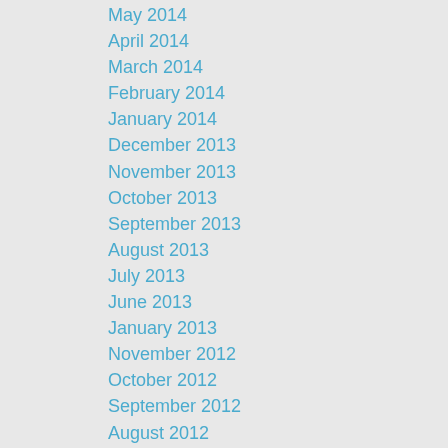May 2014
April 2014
March 2014
February 2014
January 2014
December 2013
November 2013
October 2013
September 2013
August 2013
July 2013
June 2013
January 2013
November 2012
October 2012
September 2012
August 2012
July 2012
June 2012
May 2012
April 2012